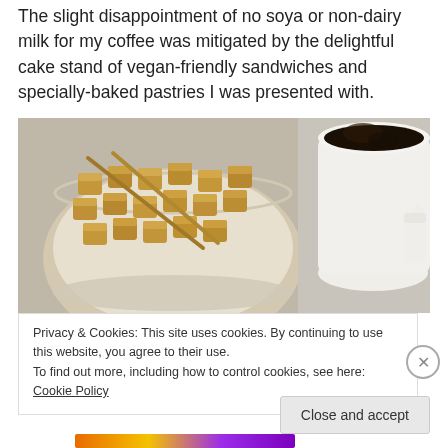The slight disappointment of no soya or non-dairy milk for my coffee was mitigated by the delightful cake stand of vegan-friendly sandwiches and specially-baked pastries I was presented with.
[Figure (photo): A bowl of brown sugar cubes with tongs alongside a white cup of black coffee on a lace tablecloth, with a small white creamer jug]
Privacy & Cookies: This site uses cookies. By continuing to use this website, you agree to their use.
To find out more, including how to control cookies, see here: Cookie Policy
Close and accept